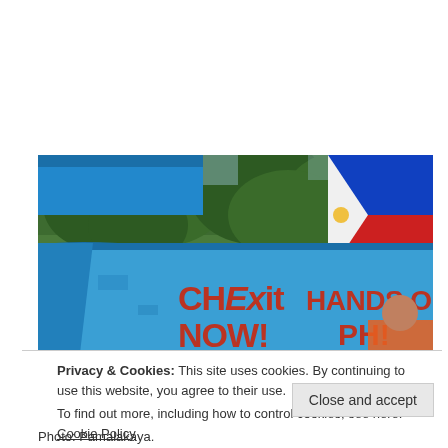[Figure (photo): Protesters holding a blue painted boat hull or banner with red text reading 'CHexit NOW! P1NAS' on the left and 'HANDS OFF PH! PAMALAKAYA PILIPINAS' on the right. A Philippine flag (blue, red, white with sun) is visible in the upper right. People in orange shirts are visible behind, and trees are in the background.]
Privacy & Cookies: This site uses cookies. By continuing to use this website, you agree to their use.
To find out more, including how to control cookies, see here: Cookie Policy
Close and accept
Photo: Pamalakaya.